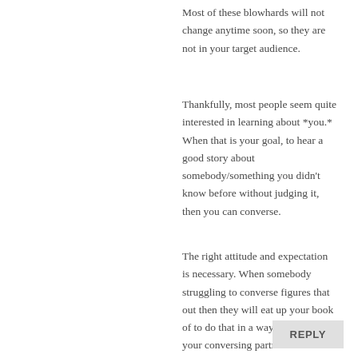Most of these blowhards will not change anytime soon, so they are not in your target audience.
Thankfully, most people seem quite interested in learning about *you.* When that is your goal, to hear a good story about somebody/something you didn't know before without judging it, then you can converse.
The right attitude and expectation is necessary. When somebody struggling to converse figures that out then they will eat up your book of to do that in a way that engages your conversing partner.